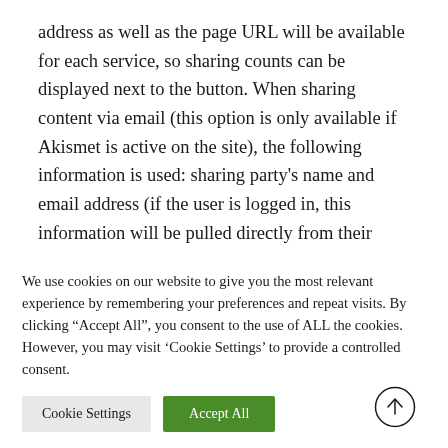address as well as the page URL will be available for each service, so sharing counts can be displayed next to the button. When sharing content via email (this option is only available if Akismet is active on the site), the following information is used: sharing party's name and email address (if the user is logged in, this information will be pulled directly from their account), IP address (for spam
We use cookies on our website to give you the most relevant experience by remembering your preferences and repeat visits. By clicking “Accept All”, you consent to the use of ALL the cookies. However, you may visit ‘Cookie Settings’ to provide a controlled consent.